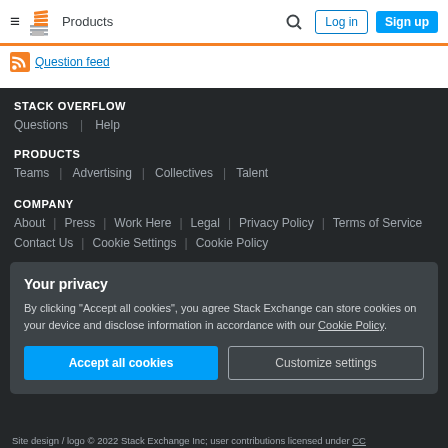≡  [Stack Overflow logo]  Products  🔍  Log in  Sign up
Question feed
STACK OVERFLOW
Questions    Help
PRODUCTS
Teams    Advertising    Collectives    Talent
COMPANY
About    Press    Work Here    Legal    Privacy Policy    Terms of Service
Contact Us    Cookie Settings    Cookie Policy
Your privacy
By clicking "Accept all cookies", you agree Stack Exchange can store cookies on your device and disclose information in accordance with our Cookie Policy.
Accept all cookies    Customize settings
Site design / logo © 2022 Stack Exchange Inc; user contributions licensed under CC